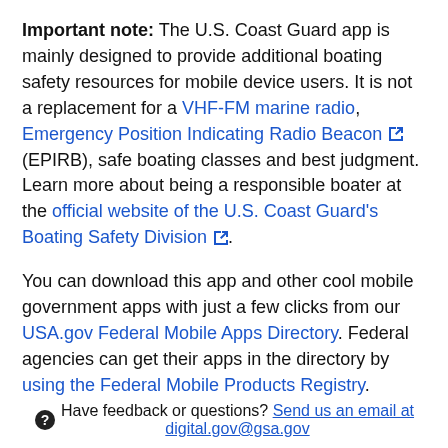Important note: The U.S. Coast Guard app is mainly designed to provide additional boating safety resources for mobile device users. It is not a replacement for a VHF-FM marine radio, Emergency Position Indicating Radio Beacon (EPIRB), safe boating classes and best judgment. Learn more about being a responsible boater at the official website of the U.S. Coast Guard's Boating Safety Division.
You can download this app and other cool mobile government apps with just a few clicks from our USA.gov Federal Mobile Apps Directory. Federal agencies can get their apps in the directory by using the Federal Mobile Products Registry.
Have feedback or questions? Send us an email at digital.gov@gsa.gov